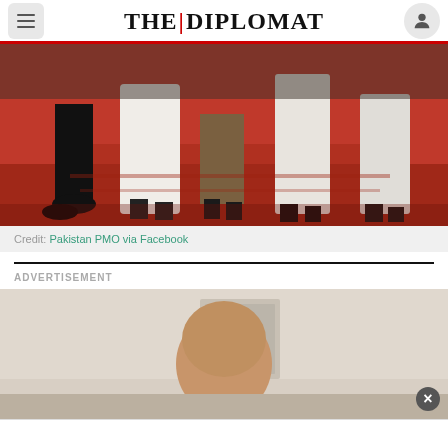THE DIPLOMAT
[Figure (photo): Cropped photo showing legs and feet of people walking on a red carpet, wearing black shoes and white/brown garments]
Credit: Pakistan PMO via Facebook
ADVERTISEMENT
[Figure (photo): Advertisement image showing a person's head and upper body, partially cropped, with a close button (×) in the bottom right corner]